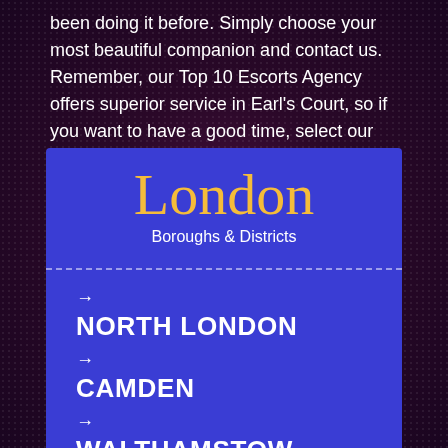been doing it before. Simply choose your most beautiful companion and contact us. Remember, our Top 10 Escorts Agency offers superior service in Earl's Court, so if you want to have a good time, select our services!
London
Boroughs & Districts
→ NORTH LONDON
→ CAMDEN
→ WALTHAMSTOW